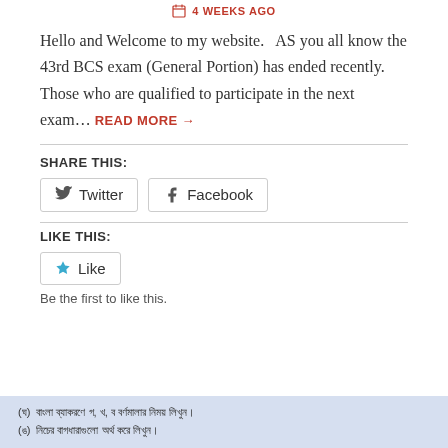4 WEEKS AGO
Hello and Welcome to my website.   AS you all know the 43rd BCS exam (General Portion) has ended recently. Those who are qualified to participate in the next exam… READ MORE →
SHARE THIS:
LIKE THIS:
Be the first to like this.
[Figure (screenshot): Bottom portion of a Bengali exam document showing two questions in Bengali script]